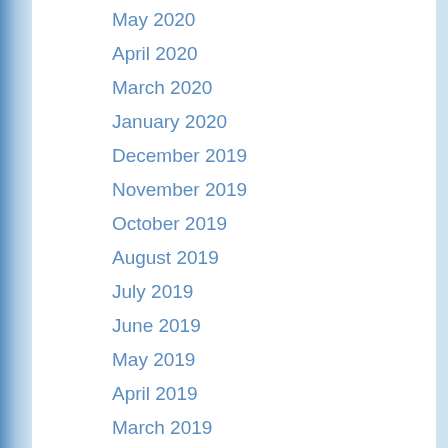May 2020
April 2020
March 2020
January 2020
December 2019
November 2019
October 2019
August 2019
July 2019
June 2019
May 2019
April 2019
March 2019
February 2019
January 2019
December 2018
November 2018
October 2018